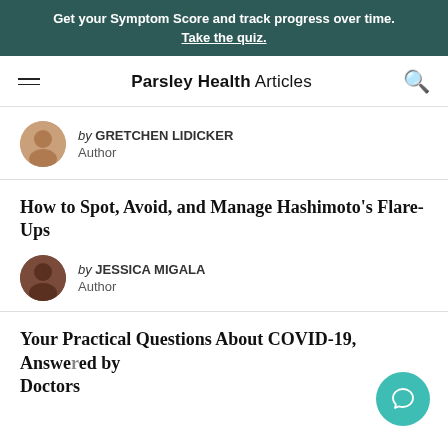Get your Symptom Score and track progress over time. Take the quiz.
Parsley Health Articles
by GRETCHEN LIDICKER
Author
How to Spot, Avoid, and Manage Hashimoto's Flare-Ups
by JESSICA MIGALA
Author
Your Practical Questions About COVID-19, Answered by Doctors